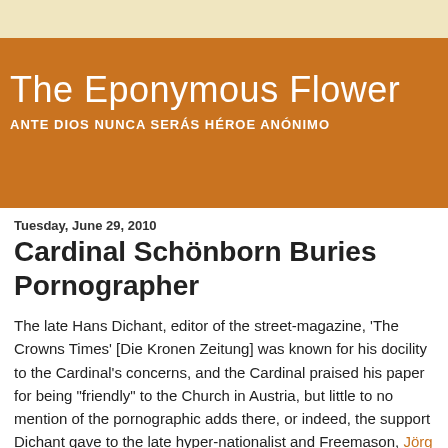The Eponymous Flower
ANTE DIOS NUNCA SERÁS HÉROE ANÓNIMO
Tuesday, June 29, 2010
Cardinal Schönborn Buries Pornographer
The late Hans Dichant, editor of the street-magazine, 'The Crowns Times' [Die Kronen Zeitung] was known for his docility to the Cardinal's concerns, and the Cardinal praised his paper for being "friendly" to the Church in Austria, but little to no mention of the pornographic adds there, or indeed, the support Dichant gave to the late hyper-nationalist and Freemason, Jörg Haider. [Ewald Stadler maintains as much in 2007 in his lecture on Masonry in Linz.]